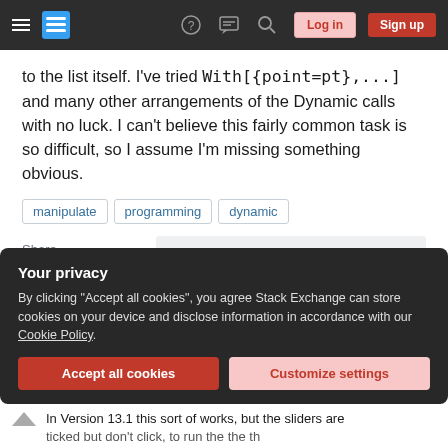Stack Exchange navigation bar with logo, help, chat, search, Log in, Sign up buttons
to the list itself. I've tried With[{point=pt},...] and many other arrangements of the Dynamic calls with no luck. I can't believe this fairly common task is so difficult, so I assume I'm missing something obvious.
manipulate
programming
dynamic
Share
Improve this question
Follow
asked Jan 7, 2020 at 21:32
Stephen Eubank
91 ▲4
Your privacy
By clicking "Accept all cookies", you agree Stack Exchange can store cookies on your device and disclose information in accordance with our Cookie Policy.
Accept all cookies   Customize settings
In Version 13.1 this sort of works, but the sliders are - ticked but don't click, to run the the th